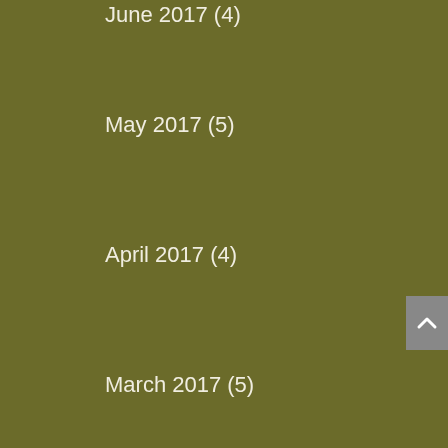June 2017 (4)
May 2017 (5)
April 2017 (4)
March 2017 (5)
February 2017 (4)
January 2017 (4)
December 2016 (5)
November 2016 (4)
October 2016 (4)